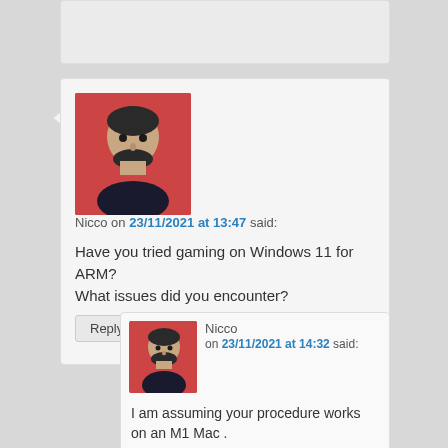[Figure (screenshot): Top of a website comment section, partially cropped]
Nicco on 23/11/2021 at 13:47 said:
Have you tried gaming on Windows 11 for ARM? What issues did you encounter?
Reply ↓
Nicco on 23/11/2021 at 14:32 said:
I am assuming your procedure works on an M1 Mac .
Reply ↓